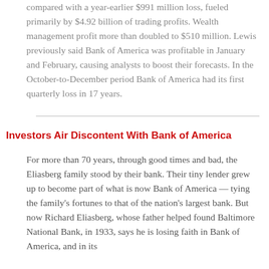compared with a year-earlier $991 million loss, fueled primarily by $4.92 billion of trading profits. Wealth management profit more than doubled to $510 million. Lewis previously said Bank of America was profitable in January and February, causing analysts to boost their forecasts. In the October-to-December period Bank of America had its first quarterly loss in 17 years.
Investors Air Discontent With Bank of America
For more than 70 years, through good times and bad, the Eliasberg family stood by their bank. Their tiny lender grew up to become part of what is now Bank of America — tying the family's fortunes to that of the nation's largest bank. But now Richard Eliasberg, whose father helped found Baltimore National Bank, in 1933, says he is losing faith in Bank of America, and in its